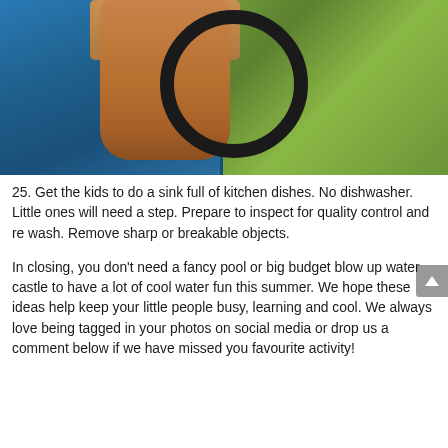[Figure (photo): Photo of a child standing near a blue inflatable pool on green grass, with a black hose/ring visible]
25. Get the kids to do a sink full of kitchen dishes. No dishwasher. Little ones will need a step. Prepare to inspect for quality control and re wash. Remove sharp or breakable objects.
In closing, you don't need a fancy pool or big budget blow up water castle to have a lot of cool water fun this summer. We hope these ideas help keep your little people busy, learning and cool. We always love being tagged in your photos on social media or drop us a comment below if we have missed you favourite activity!